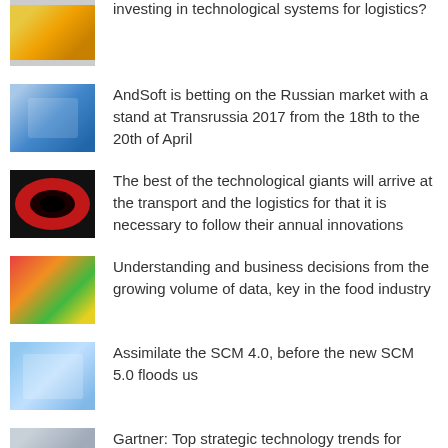[Figure (photo): Small thumbnail image - partial, top cropped]
Investing in technological systems for logistics?
[Figure (photo): Small thumbnail image showing blue/teal objects]
AndSoft is betting on the Russian market with a stand at Transrussia 2017 from the 18th to the 20th of April
[Figure (photo): Close-up photo of an eye with red/pink iris]
The best of the technological giants will arrive at the transport and the logistics for that it is necessary to follow their annual innovations
[Figure (photo): Colorful food items photo]
Understanding and business decisions from the growing volume of data, key in the food industry
[Figure (photo): Image related to SCM/supply chain management]
Assimilate the SCM 4.0, before the new SCM 5.0 floods us
[Figure (photo): Small thumbnail image - partial at bottom]
Gartner: Top strategic technology trends for